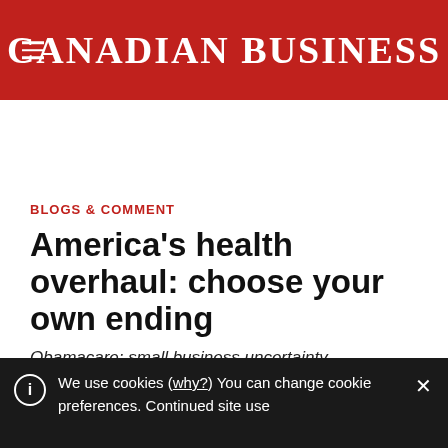CANADIAN BUSINESS
BLOGS & COMMENT
America's health overhaul: choose your own ending
Obamacare: small business uncertainty.
By Erica Alini
March 7, 2013
We use cookies (why?) You can change cookie preferences. Continued site use